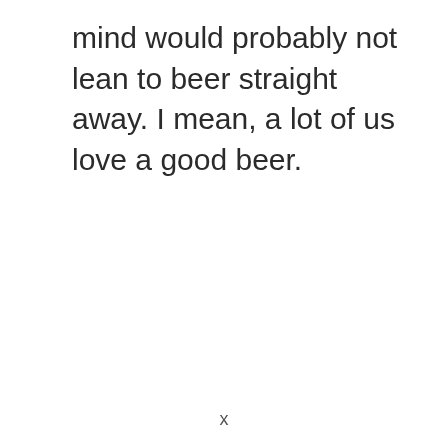mind would probably not lean to beer straight away. I mean, a lot of us love a good beer.
x